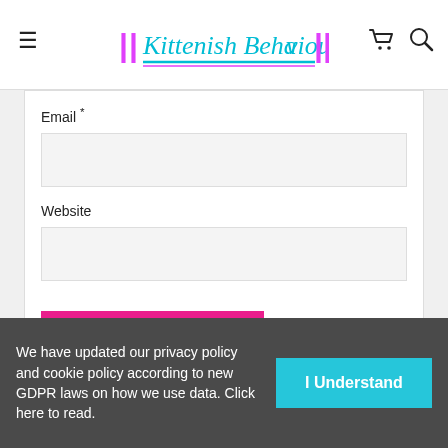Kittenish Behaviour — navigation header with hamburger menu, logo, cart and search icons
Email *
Website
SUBMIT COMMENT
We have updated our privacy policy and cookie policy according to new GDPR laws on how we use data. Click here to read.
I Understand